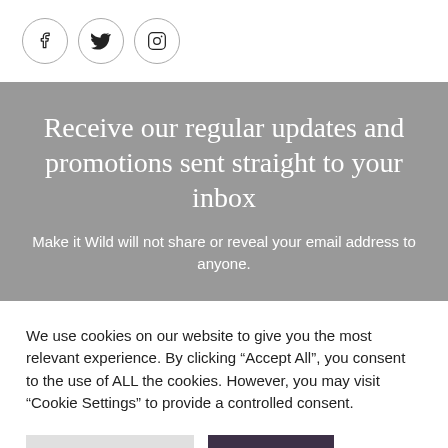[Figure (other): Social media icons: Facebook, Twitter, Instagram in circles]
Receive our regular updates and promotions sent straight to your inbox
Make it Wild will not share or reveal your email address to anyone.
We use cookies on our website to give you the most relevant experience. By clicking “Accept All”, you consent to the use of ALL the cookies. However, you may visit "Cookie Settings" to provide a controlled consent.
Cookie Settings | Accept All